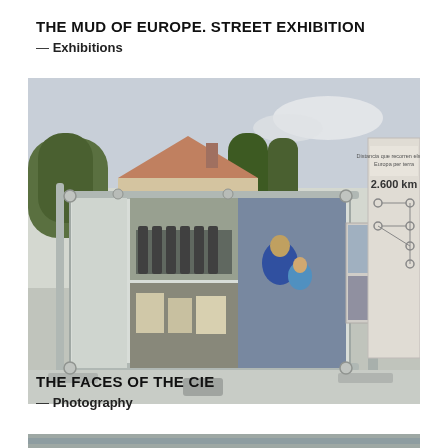THE MUD OF EUROPE. STREET EXHIBITION
— Exhibitions
[Figure (photo): Outdoor street exhibition showing mounted display panels with refugee photos and an infographic panel showing '2.600 km' distance route across Europe, set in a town square with houses and trees in background.]
THE FACES OF THE CIE
— Photography
[Figure (photo): Partial bottom strip showing another photo, cropped at page bottom.]